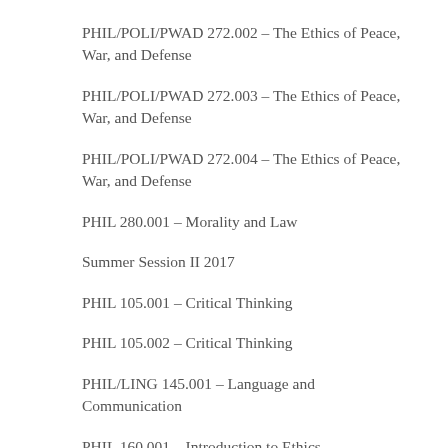PHIL/POLI/PWAD 272.002 – The Ethics of Peace, War, and Defense
PHIL/POLI/PWAD 272.003 – The Ethics of Peace, War, and Defense
PHIL/POLI/PWAD 272.004 – The Ethics of Peace, War, and Defense
PHIL 280.001 – Morality and Law
Summer Session II 2017
PHIL 105.001 – Critical Thinking
PHIL 105.002 – Critical Thinking
PHIL/LING 145.001 – Language and Communication
PHIL 160.001 – Introduction to Ethics